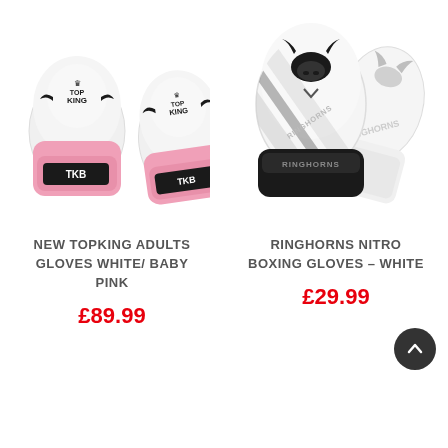[Figure (photo): Two white and baby pink Top King boxing gloves with TKB branding]
[Figure (photo): Two white Ringhorns Nitro boxing gloves with black bull logo and stripe design]
NEW TOPKING ADULTS GLOVES WHITE/ BABY PINK
RINGHORNS NITRO BOXING GLOVES – WHITE
£89.99
£29.99